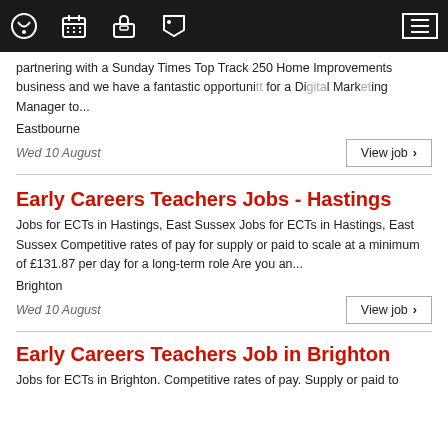Navigation bar with icons: chat, calendar, briefcase, tag, and hamburger menu
partnering with a Sunday Times Top Track 250 Home Improvements business and we have a fantastic opportunity for a Digital Marketing Manager to...
Eastbourne
Wed 10 August
Early Careers Teachers Jobs - Hastings
Jobs for ECTs in Hastings, East Sussex Jobs for ECTs in Hastings, East Sussex Competitive rates of pay for supply or paid to scale at a minimum of £131.87 per day for a long-term role Are you an...
Brighton
Wed 10 August
Early Careers Teachers Job in Brighton
Jobs for ECTs in Brighton. Competitive rates of pay. Supply or paid to